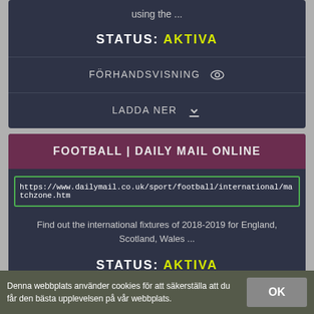using the ...
STATUS: AKTIVA
FÖRHANDSVISNING
LADDA NER
FOOTBALL | DAILY MAIL ONLINE
https://www.dailymail.co.uk/sport/football/international/matchzone.htm
Find out the international fixtures of 2018-2019 for England, Scotland, Wales ...
STATUS: AKTIVA
Denna webbplats använder cookies för att säkerställa att du får den bästa upplevelsen på vår webbplats.